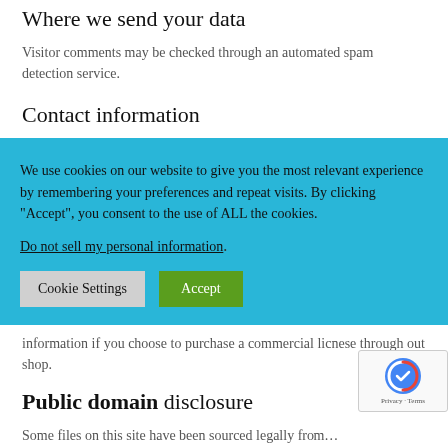Where we send your data
Visitor comments may be checked through an automated spam detection service.
Contact information
We use cookies on our website to give you the most relevant experience by remembering your preferences and repeat visits. By clicking “Accept”, you consent to the use of ALL the cookies.
Do not sell my personal information.
Cookie Settings  Accept
information if you choose to purchase a commercial licnese through out shop.
Public domain disclosure
Some files on this site have been sourced legally fr…